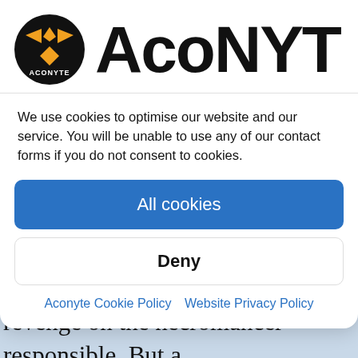[Figure (logo): Aconyte logo: circular black badge with orange diamond/wing symbol and 'ACONYTE' text, plus large 'ACONYTE' wordmark text to the right]
We use cookies to optimise our website and our service. You will be unable to use any of our contact forms if you do not consent to cookies.
All cookies
Deny
Aconyte Cookie Policy  Website Privacy Policy
ravenous zombie horde, he swears revenge on the necromancer responsible. But a quest forvengeance is no easy matter in a world overrun by the walking dead. Joined by a sharp-tongued rogue, a witch hunter with secret